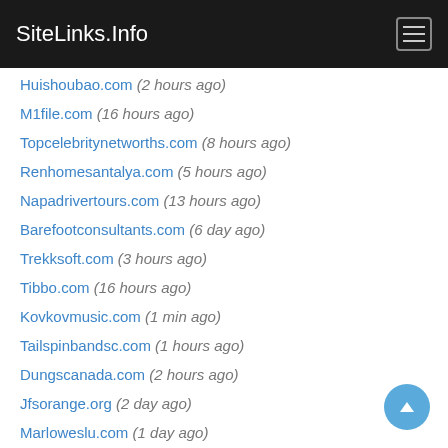SiteLinks.Info
Huishoubao.com (2 hours ago)
M1file.com (16 hours ago)
Topcelebritynetworths.com (8 hours ago)
Renhomesantalya.com (5 hours ago)
Napadrivertours.com (13 hours ago)
Barefootconsultants.com (6 day ago)
Trekksoft.com (3 hours ago)
Tibbo.com (16 hours ago)
Kovkovmusic.com (1 min ago)
Tailspinbandsc.com (1 hours ago)
Dungscanada.com (2 hours ago)
Jfsorange.org (2 day ago)
Marloweslu.com (1 day ago)